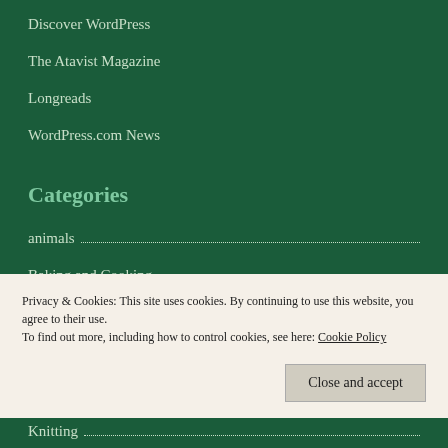Discover WordPress
The Atavist Magazine
Longreads
WordPress.com News
Categories
animals
Baking and Cooking
Books & Reading
Privacy & Cookies: This site uses cookies. By continuing to use this website, you agree to their use. To find out more, including how to control cookies, see here: Cookie Policy
Knitting